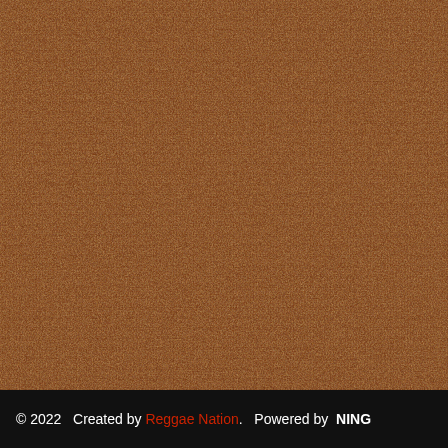[Figure (photo): Cork board texture filling most of the page — grainy brown surface with darker and lighter speckled areas resembling natural cork material.]
© 2022   Created by Reggae Nation.   Powered by  NING